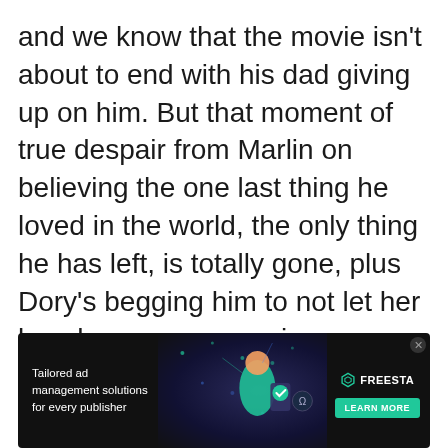and we know that the movie isn't about to end with his dad giving up on him. But that moment of true despair from Marlin on believing the one last thing he loved in the world, the only thing he has left, is totally gone, plus Dory's begging him to not let her lose her memory again, combined with the deafening silence of the score, makes for a
[Figure (other): Advertisement banner for Freesta - Tailored ad management solutions for every publisher, with dark background, decorative tech/space imagery, green checkmark icons, and a Learn More button]